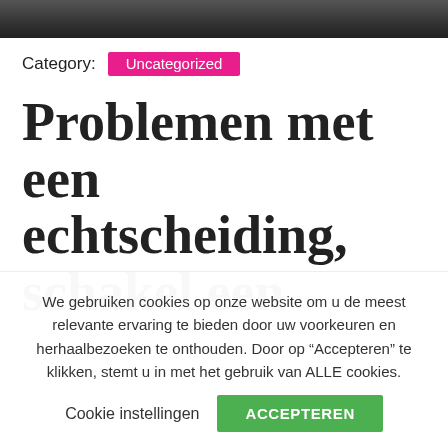[Figure (photo): Dark photographic image strip at top of page]
Category: Uncategorized
Problemen met een echtscheiding, schakel een familierecht
We gebruiken cookies op onze website om u de meest relevante ervaring te bieden door uw voorkeuren en herhaalbezoeken te onthouden. Door op “Accepteren” te klikken, stemt u in met het gebruik van ALLE cookies.
Cookie instellingen   ACCEPTEREN